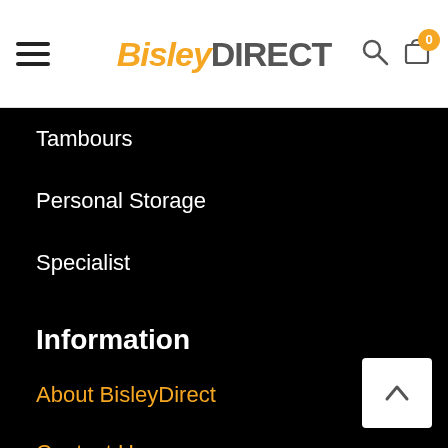BisleyDIRECT
Tambours
Personal Storage
Specialist
Information
About BisleyDirect
Contact Us
Terms & Conditions
Returns
Shipping & Delivery